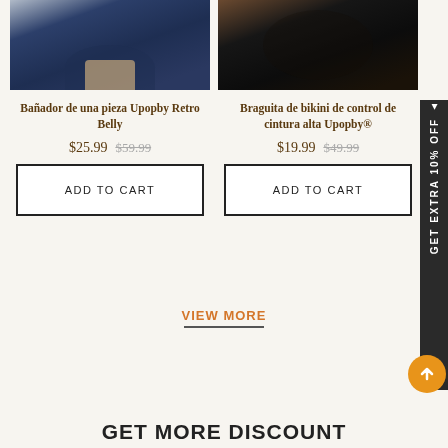[Figure (photo): Cropped photo of model wearing navy blue one-piece swimsuit, showing torso and hands]
[Figure (photo): Cropped photo of model wearing black bikini bottom, showing torso]
Bañador de una pieza Upopby Retro Belly
Braguita de bikini de control de cintura alta Upopby®
$25.99  $59.99
$19.99  $49.99
ADD TO CART
ADD TO CART
VIEW MORE
GET MORE DISCOUNT
GET EXTRA 10% OFF ▲